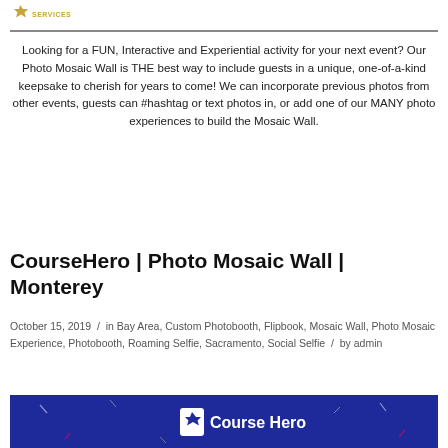[Figure (logo): Company logo with star/shield icon and 'SERVICES' text]
Looking for a FUN, Interactive and Experiential activity for your next event? Our Photo Mosaic Wall is THE best way to include guests in a unique, one-of-a-kind keepsake to cherish for years to come! We can incorporate previous photos from other events, guests can #hashtag or text photos in, or add one of our MANY photo experiences to build the Mosaic Wall.
CourseHero | Photo Mosaic Wall | Monterey
October 15, 2019 / in Bay Area, Custom Photobooth, Flipbook, Mosaic Wall, Photo Mosaic Experience, Photobooth, Roaming Selfie, Sacramento, Social Selfie / by admin
[Figure (photo): Course Hero branded banner with blue background, white shield/star logo and 'Course Hero' text]